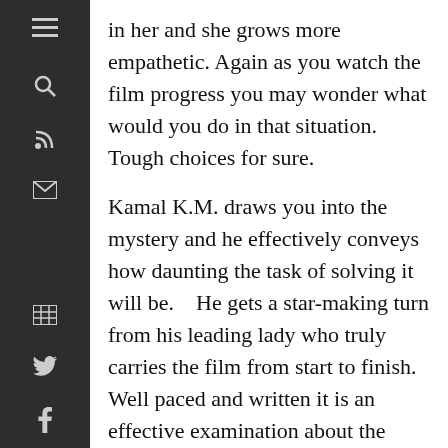in her and she grows more empathetic. Again as you watch the film progress you may wonder what would you do in that situation.  Tough choices for sure.
Kamal K.M. draws you into the mystery and he effectively conveys how daunting the task of solving it will be.    He gets a star-making turn from his leading lady who truly carries the film from start to finish.  Well paced and written it is an effective examination about the need for identity even in an age where just about everyone and everything is connected.   If identity is lost and there is no one around to speak of you, you are essentially lost forever. Perhaps that is the driving force behind